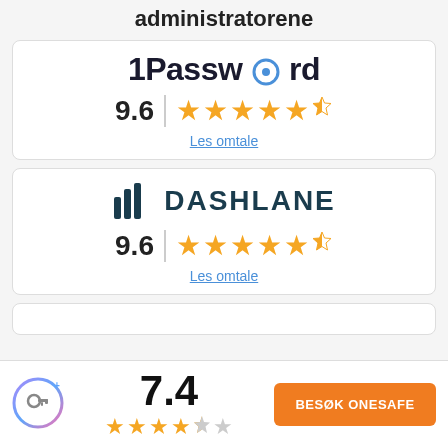administratorene
[Figure (logo): 1Password logo with blue circle 'o']
9.6
Les omtale
[Figure (logo): Dashlane logo with icon and bold text]
9.6
Les omtale
[Figure (logo): OneSafe app icon with key and gradient ring]
7.4
BESØK ONESAFE